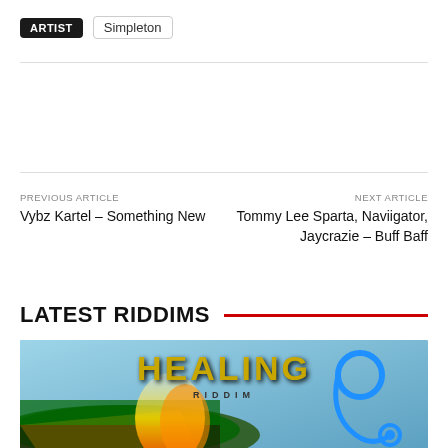ARTIST   Simpleton
PREVIOUS ARTICLE
Vybz Kartel – Something New
NEXT ARTICLE
Tommy Lee Sparta, Naviigator, Jaycrazie – Buff Baff
LATEST RIDDIMS
[Figure (photo): Healing Riddim album cover artwork showing Jamaican flag with fire effects and a stethoscope on a blue background]